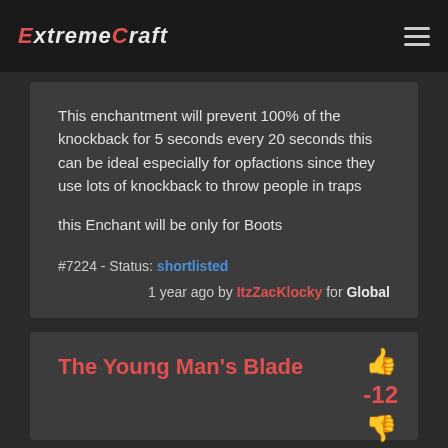ExtremeCraft
This enchantment will prevent 100% of the knockback for 5 seconds every 20 seconds this can be ideal especially for opfactions since they use lots of knockback to throw people in traps

this Enchant will be only for Boots
#7224 - Status: shortlisted
1 year ago by ItzZacKlocky for Global
The Young Man's Blade
-12